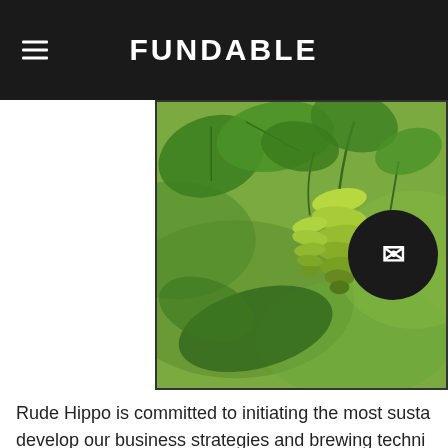FUNDABLE
[Figure (photo): Close-up photo of hops plant with green hop cones and leaves against a blurred green background]
Rude Hippo is committed to initiating the most susta... develop our business strategies and brewing techni... be dictated by our final location, but we are committed... equipment possible (tankless water heaters, g o... energy sources (solar...wind...even spent grain pellet... reuse/recycling of raw goods and packaging materi...